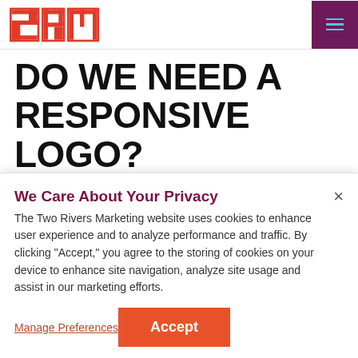2RM logo and navigation menu
DO WE NEED A RESPONSIVE LOGO?
If you ask a designer, they will probably tell you that most companies would benefit from and should consider a
We Care About Your Privacy
The Two Rivers Marketing website uses cookies to enhance user experience and to analyze performance and traffic. By clicking "Accept," you agree to the storing of cookies on your device to enhance site navigation, analyze site usage and assist in our marketing efforts.
Manage Preferences
Accept